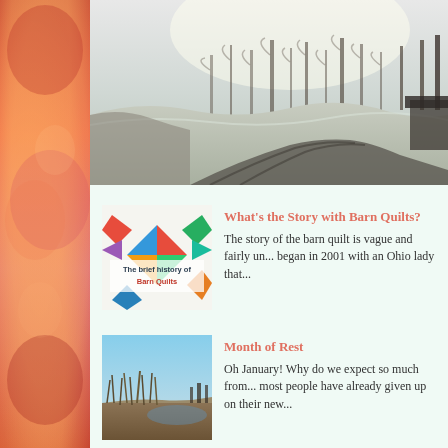[Figure (photo): Frost-covered rural landscape with bare trees in misty background and frosted ground/dirt road in foreground]
[Figure (illustration): Thumbnail image for 'The brief history of Barn Quilts' showing a colorful quilt pattern]
What's the Story with Barn Quilts?
The story of the barn quilt is vague and fairly un... began in 2001 with an Ohio lady that...
[Figure (photo): Thumbnail photo of a rural landscape with fields and blue sky]
Month of Rest
Oh January! Why do we expect so much from... most people have already given up on their new...